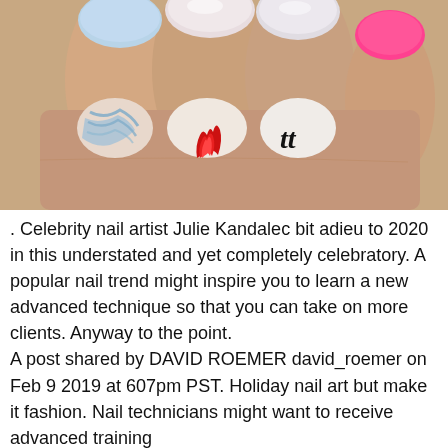[Figure (photo): Close-up photo of a hand with decorated nails. Nails feature pastel colors (light blue, pearlescent white/pink) on upper knuckles, and decorative art on lower nails: blue swirl/tiger stripe pattern, red flame design, and gothic letter 'tt' on a nude/white base.]
. Celebrity nail artist Julie Kandalec bit adieu to 2020 in this understated and yet completely celebratory. A popular nail trend might inspire you to learn a new advanced technique so that you can take on more clients. Anyway to the point.
A post shared by DAVID ROEMER david_roemer on Feb 9 2019 at 607pm PST. Holiday nail art but make it fashion. Nail technicians might want to receive advanced training